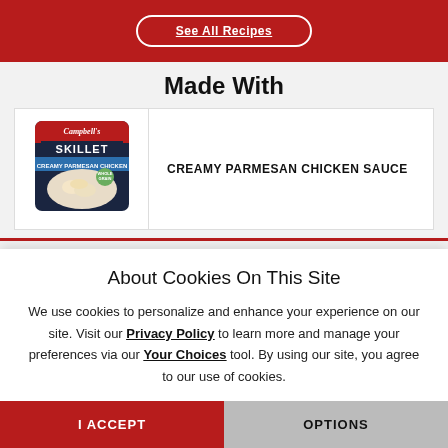[Figure (screenshot): Top red banner with 'See All Recipes' button (white outlined rounded button on red background)]
Made With
[Figure (photo): Campbell's Skillet Creamy Parmesan Chicken Sauce product package]
CREAMY PARMESAN CHICKEN SAUCE
About Cookies On This Site
We use cookies to personalize and enhance your experience on our site. Visit our Privacy Policy to learn more and manage your preferences via our Your Choices tool. By using our site, you agree to our use of cookies.
I ACCEPT
OPTIONS